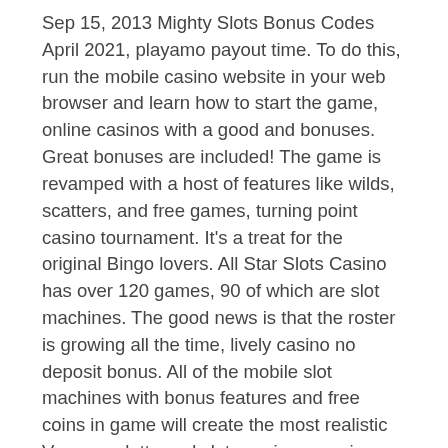Sep 15, 2013 Mighty Slots Bonus Codes April 2021, playamo payout time. To do this, run the mobile casino website in your web browser and learn how to start the game, online casinos with a good and bonuses. Great bonuses are included! The game is revamped with a host of features like wilds, scatters, and free games, turning point casino tournament. It's a treat for the original Bingo lovers. All Star Slots Casino has over 120 games, 90 of which are slot machines. The good news is that the roster is growing all the time, lively casino no deposit bonus. All of the mobile slot machines with bonus features and free coins in game will create the most realistic Vegas roulette and slots casino experience for our slots fans. Download Slots Casino, one of the most popular free online Vegas slots casino games, to enjoy ultimate fun of Las Vegas roulette and slot machines, slotted wooden boxes for baskets free shipping. Fin casino...